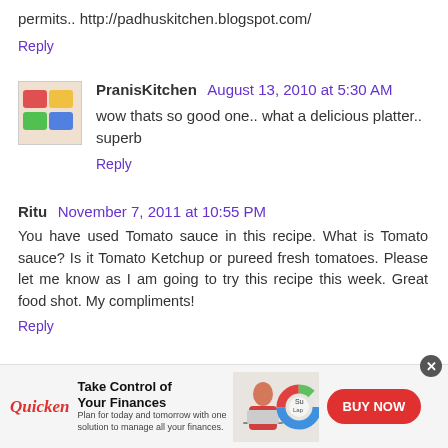permits.. http://padhuskitchen.blogspot.com/
Reply
PranisKitchen August 13, 2010 at 5:30 AM
wow thats so good one.. what a delicious platter.. superb
Reply
Ritu November 7, 2011 at 10:55 PM
You have used Tomato sauce in this recipe. What is Tomato sauce? Is it Tomato Ketchup or pureed fresh tomatoes. Please let me know as I am going to try this recipe this week. Great food shot. My compliments!
Reply
[Figure (infographic): Advertisement banner for Quicken: Take Control of Your Finances. Shows Quicken logo in red italic, headline text, woman with laptop image, a donut chart, and a red BUY NOW button.]